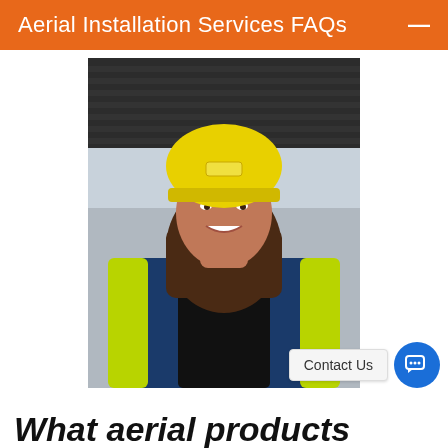Aerial Installation Services FAQs
[Figure (photo): A smiling woman wearing a yellow hard hat and a high-visibility jacket (navy blue and yellow), standing outdoors near a building with dark corrugated panels in the background.]
Contact Us
What aerial products